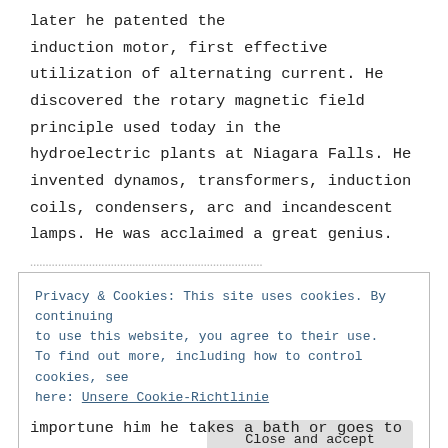later he patented the induction motor, first effective utilization of alternating current. He discovered the rotary magnetic field principle used today in the hydroelectric plants at Niagara Falls. He invented dynamos, transformers, induction coils, condensers, arc and incandescent lamps. He was acclaimed a great genius.
Privacy & Cookies: This site uses cookies. By continuing to use this website, you agree to their use. To find out more, including how to control cookies, see here: Unsere Cookie-Richtlinie
importune him he takes a bath or goes to